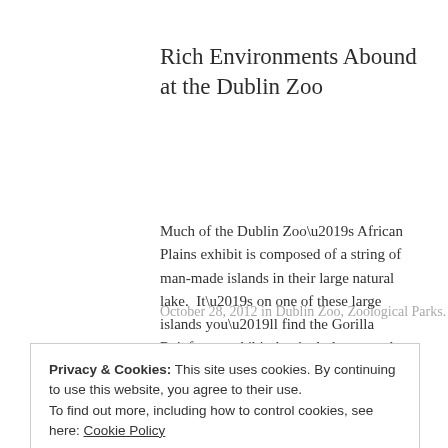Rich Environments Abound at the Dublin Zoo
Much of the Dublin Zoo’s African Plains exhibit is composed of a string of man-made islands in their large natural lake.  It’s on one of these large islands you’ll find the Gorilla Rainforest exhibit that includes not only a large, lush green island with various trees and climbing structures but also an indoor enclosure.  Encompassing 12,000 square metres, the…
October 28, 2012 in Dublin Zoo, Zoological Parks.
Privacy & Cookies: This site uses cookies. By continuing to use this website, you agree to their use.
To find out more, including how to control cookies, see here: Cookie Policy
Close and accept